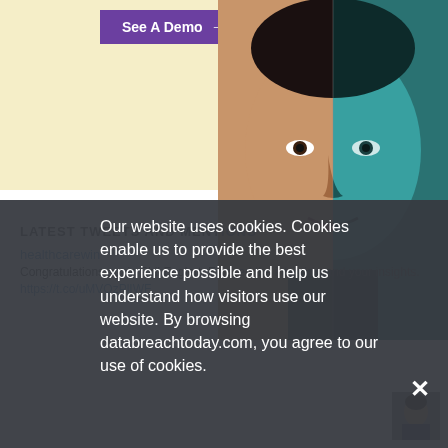[Figure (screenshot): Screenshot of a website with a purple 'See A Demo →' button on a cream background, and a man's face split into natural color (left) and teal tinted (right)]
Our website uses cookies. Cookies enable us to provide the best experience possible and help us understand how visitors use our website. By browsing databreachtoday.com, you agree to our use of cookies.
LATEST TWEETS AND MENTIONS
healthcarewin
Congratulations again Phil Englert. Enjoyed the interview and your insights. https://t.co/uMVOzPlIWF